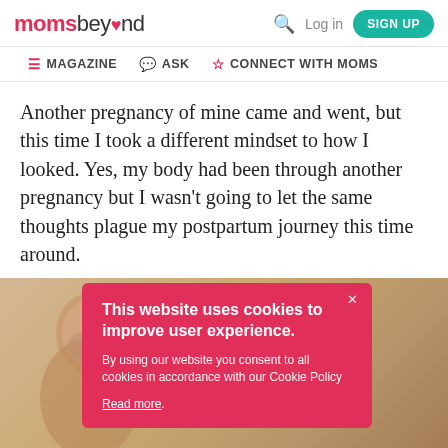moms beyond — MAGAZINE | ASK | CONNECT WITH MOMS — Log in | SIGN UP
Another pregnancy of mine came and went, but this time I took a different mindset to how I looked. Yes, my body had been through another pregnancy but I wasn't going to let the same thoughts plague my postpartum journey this time around.
[Figure (screenshot): Cookie consent banner overlay on photo of woman. Banner reads: 'This website uses cookies to improve user experience. By using our website you consent to all cookies in accordance with our Cookie Policy. Read more.' Behind banner, a partial photo of a woman is visible with warm/tan background tones.]